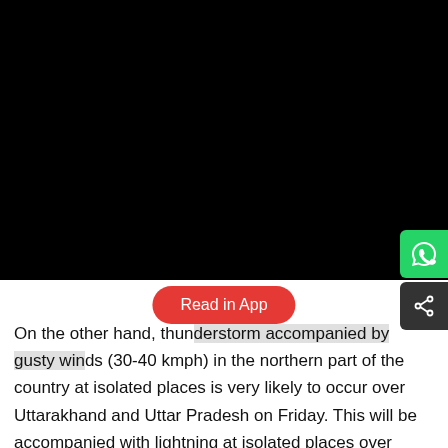[Figure (photo): Black image/video placeholder area]
Read in App
On the other hand, thunderstorm accompanied by gusty winds (30-40 kmph) in the northern part of the country at isolated places is very likely to occur over Uttarakhand and Uttar Pradesh on Friday. This will be accompanied with lightning at isolated places over West Bengal, Sikkim, Bihar, Odisha and